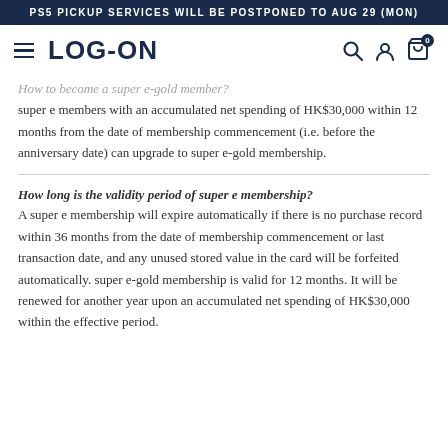PS5 PICKUP SERVICES WILL BE POSTPONED TO AUG 29 (MON)
LOG-ON
How to become a super e-gold member?
super e members with an accumulated net spending of HK$30,000 within 12 months from the date of membership commencement (i.e. before the anniversary date) can upgrade to super e-gold membership.
How long is the validity period of super e membership?
A super e membership will expire automatically if there is no purchase record within 36 months from the date of membership commencement or last transaction date, and any unused stored value in the card will be forfeited automatically. super e-gold membership is valid for 12 months. It will be renewed for another year upon an accumulated net spending of HK$30,000 within the effective period.